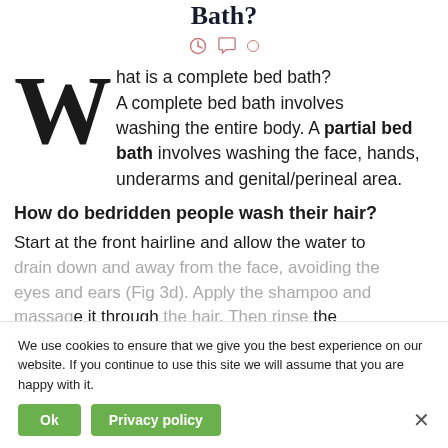Bath?
What is a complete bed bath? A complete bed bath involves washing the entire body. A partial bed bath involves washing the face, hands, underarms and genital/perineal area.
How do bedridden people wash their hair?
Start at the front hairline and allow the water to drain down and away from the face, avoiding the eyes and ears (Fig 3d). Apply the shampoo and massage it through the hair. Then rinse the patient's hair with extra water. Apply conditioner, if required by the patient, and rinse the hair again.
We use cookies to ensure that we give you the best experience on our website. If you continue to use this site we will assume that you are happy with it.